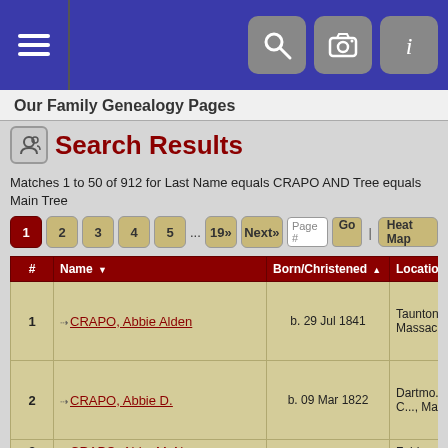Navigation bar with hamburger menu and icons
Our Family Genealogy Pages
Search Results
Matches 1 to 50 of 912 for Last Name equals CRAPO AND Tree equals Main Tree
| # | Name | Born/Christened | Location |
| --- | --- | --- | --- |
| 1 | CRAPO, Abbie Alden | b. 29 Jul 1841 | Taunton, Bristol, Massac..., USA |
| 2 | CRAPO, Abbie D. | b. 09 Mar 1822 | Dartmo..., Bristol C..., Massac... |
| 3 | CRAPO, Abby M. Nye |  | Fairhav... |